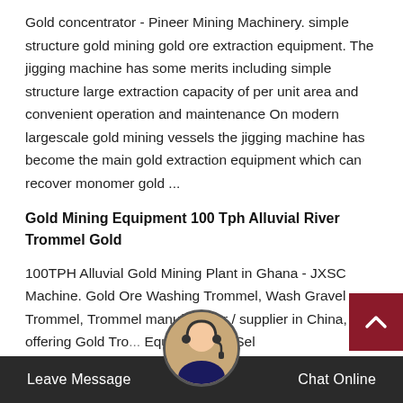Gold concentrator - Pineer Mining Machinery. simple structure gold mining gold ore extraction equipment. The jigging machine has some merits including simple structure large extraction capacity of per unit area and convenient operation and maintenance On modern largescale gold mining vessels the jigging machine has become the main gold extraction equipment which can recover monomer gold ...
Gold Mining Equipment 100 Tph Alluvial River Trommel Gold
100TPH Alluvial Gold Mining Plant in Ghana - JXSC Machine. Gold Ore Washing Trommel, Wash Gravel Trommel, Trommel manufacturer / supplier in China, offering Gold Tro... Equipment for Sel 17 Foo Wa... Hy... nth ... and Charles Plant for Lake Water Treatment Aquatic Plant Harvester